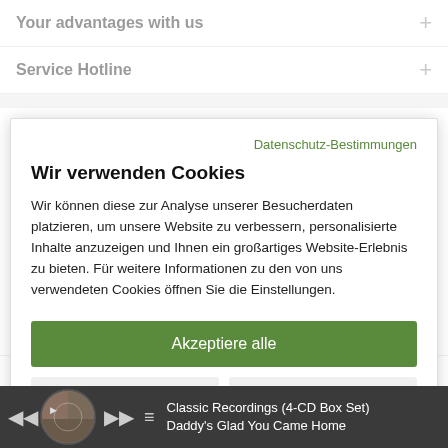Your advantages with us
Service Hotline
Datenschutz-Bestimmungen
Wir verwenden Cookies
Wir können diese zur Analyse unserer Besucherdaten platzieren, um unsere Website zu verbessern, personalisierte Inhalte anzuzeigen und Ihnen ein großartiges Website-Erlebnis zu bieten. Für weitere Informationen zu den von uns verwendeten Cookies öffnen Sie die Einstellungen.
Akzeptiere alle
Ablehnen
Nein, passen Sie an
Cookie-Einstellungen | Klarna Rechnung | Kontakt |
Classic Recordings (4-CD Box Set)
Daddy's Glad You Came Home